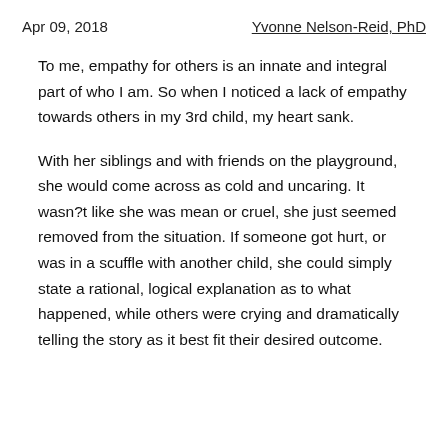Apr 09, 2018    Yvonne Nelson-Reid, PhD
To me, empathy for others is an innate and integral part of who I am. So when I noticed a lack of empathy towards others in my 3rd child, my heart sank.
With her siblings and with friends on the playground, she would come across as cold and uncaring. It wasn?t like she was mean or cruel, she just seemed removed from the situation. If someone got hurt, or was in a scuffle with another child, she could simply state a rational, logical explanation as to what happened, while others were crying and dramatically telling the story as it best fit their desired outcome.